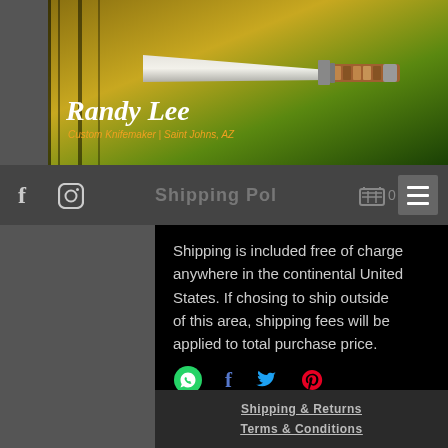[Figure (screenshot): Randy Lee Custom Knifemaker website header banner showing a custom knife with decorative handle against a yellow/green nature background. Text reads 'Randy Lee' in large white serif italic font and 'Custom Knifemaker | Saint Johns, AZ' in orange below.]
Shipping Policy  0
Shipping Policy
Shipping is included free of charge anywhere in the continental United States.  If chosing to ship outside of this area, shipping fees will be applied to total purchase price.
[Figure (infographic): Social share icons row: WhatsApp (green circle with phone icon), Facebook (blue f), Twitter (blue bird), Pinterest (red P)]
Shipping & Returns
Terms & Conditions